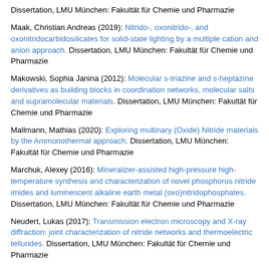Dissertation, LMU München: Fakultät für Chemie und Pharmazie
Maak, Christian Andreas (2019): Nitrido-, oxonitrido-, and oxonitridocarbidosilicates for solid-state lighting by a multiple cation and anion approach. Dissertation, LMU München: Fakultät für Chemie und Pharmazie
Makowski, Sophia Janina (2012): Molecular s-triazine and s-heptazine derivatives as building blocks in coordination networks, molecular salts and supramolecular materials. Dissertation, LMU München: Fakultät für Chemie und Pharmazie
Mallmann, Mathias (2020): Exploring multinary (Oxide) Nitride materials by the Ammonothermal approach. Dissertation, LMU München: Fakultät für Chemie und Pharmazie
Marchuk, Alexey (2016): Mineralizer-assisted high-pressure high-temperature synthesis and characterization of novel phosphorus nitride imides and luminescent alkaline earth metal (oxo)nitridophosphates. Dissertation, LMU München: Fakultät für Chemie und Pharmazie
Neudert, Lukas (2017): Transmission electron microscopy and X-ray diffraction: joint characterization of nitride networks and thermoelectric tellurides. Dissertation, LMU München: Fakultät für Chemie und Pharmazie
Niklaus, Robin (2019): Experimental and theoretical characterization of multinary nitrides. Dissertation, LMU München: Fakultät für Chemie und Pharmazie
Poesl, Sandra (2020): Neue Synthese, charakterisierung und Darstellung...